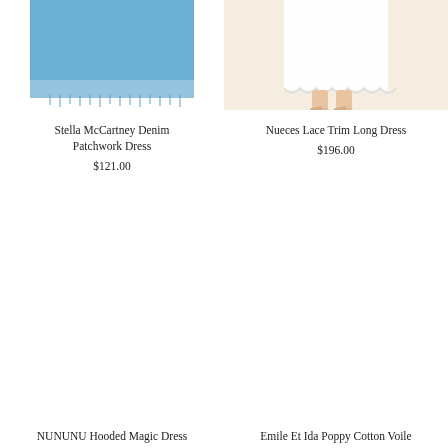[Figure (photo): Partial view of a blue denim patchwork dress product image, cropped at top]
Stella McCartney Denim Patchwork Dress
$121.00
[Figure (photo): Partial view of a white lace trim long dress on a child, showing legs and feet, cropped at top]
Nueces Lace Trim Long Dress
$196.00
[Figure (photo): Large white empty product image area for NUNUNU Hooded Magic Dress]
NUNUNU Hooded Magic Dress
[Figure (photo): Large white empty product image area for Emile Et Ida Poppy Cotton Voile]
Emile Et Ida Poppy Cotton Voile